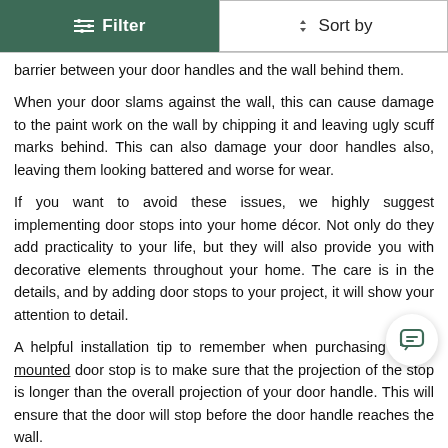Filter | Sort by
barrier between your door handles and the wall behind them.
When your door slams against the wall, this can cause damage to the paint work on the wall by chipping it and leaving ugly scuff marks behind. This can also damage your door handles also, leaving them looking battered and worse for wear.
If you want to avoid these issues, we highly suggest implementing door stops into your home décor. Not only do they add practicality to your life, but they will also provide you with decorative elements throughout your home. The care is in the details, and by adding door stops to your project, it will show your attention to detail.
A helpful installation tip to remember when purchasing a wall mounted door stop is to make sure that the projection of the stop is longer than the overall projection of your door handle. This will ensure that the door will stop before the door handle reaches the wall.
Magnetic Door Stops